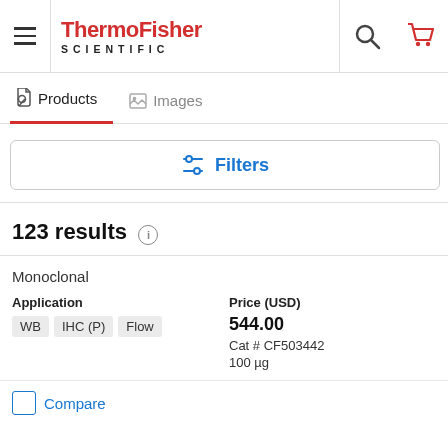[Figure (logo): ThermoFisher Scientific logo with hamburger menu, search icon, and cart icon in header]
Products   Images
Filters
123 results
Monoclonal
Application
WB  IHC (P)  Flow
Price (USD)
544.00
Cat # CF503442
100 µg
Compare